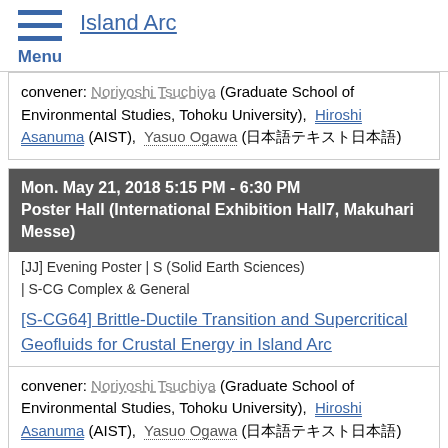Island Arc
convener: Noriyoshi Tsuchiya (Graduate School of Environmental Studies, Tohoku University), Hiroshi Asanuma (AIST), Yasuo Ogawa (日本語テキスト)
Mon. May 21, 2018 5:15 PM - 6:30 PM
Poster Hall (International Exhibition Hall7, Makuhari Messe)
[JJ] Evening Poster | S (Solid Earth Sciences)
| S-CG Complex & General
[S-CG64] Brittle-Ductile Transition and Supercritical Geofluids for Crustal Energy in Island Arc
convener: Noriyoshi Tsuchiya (Graduate School of Environmental Studies, Tohoku University), Hiroshi Asanuma (AIST), Yasuo Ogawa (日本語テキスト)
Speaker, Author, Co-Author
Wed. May 23, 2018 4:15 PM - 5:45 PM